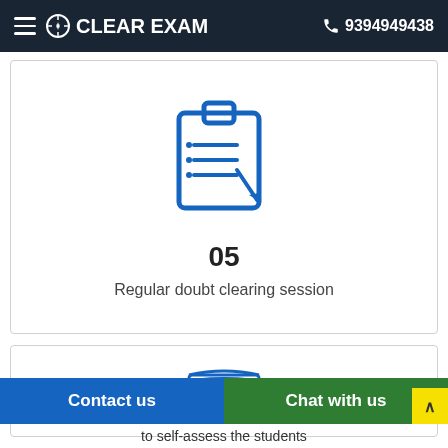CLEAR EXAM  9394949438
[Figure (illustration): Blue clipboard icon with checklist lines and a pencil]
05
Regular doubt clearing session
[Figure (illustration): Blue stack of books icon]
Contact us
Chat with us
to self-assess the students